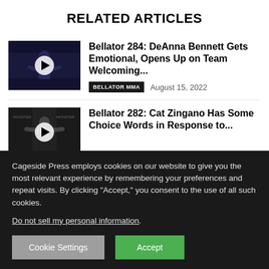RELATED ARTICLES
Bellator 284: DeAnna Bennett Gets Emotional, Opens Up on Team Welcoming...
BELLATOR MMA   August 15, 2022
Bellator 282: Cat Zingano Has Some Choice Words in Response to...
Cageside Press employs cookies on our website to give you the most relevant experience by remembering your preferences and repeat visits. By clicking “Accept,” you consent to the use of all such cookies.
Do not sell my personal information.
Cookie Settings
Accept